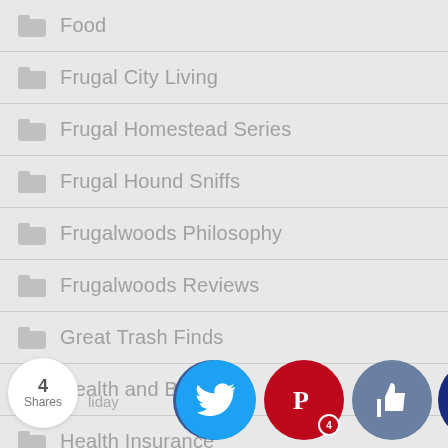Food
Frugal City Living
Frugal Homestead Series
Frugal Hound Sniffs
Frugalwoods Philosophy
Frugalwoods Reviews
Great Trash Finds
Health and Beauty
Health Insurance
[Figure (infographic): Social sharing bar with 4 Shares count bubble, Facebook, Twitter, Pinterest (badge showing 4), thumbs-up, and crown buttons. Partial text visible: 'liday' and 'ecial ns']